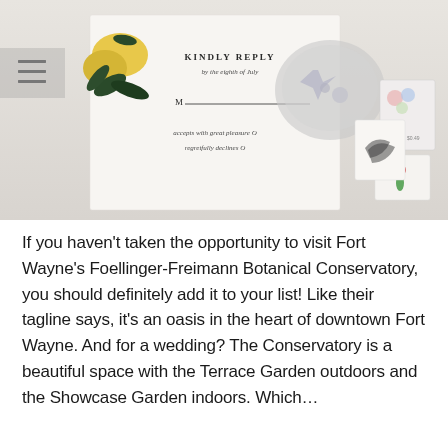[Figure (photo): Flat lay photo showing a wedding RSVP card with lemon botanical design reading 'KINDLY REPLY by the eighth of July', M___ line, 'accepts with great pleasure O / regretfully declines O', alongside a silver dish with jewelry, postage stamps, small cards, and a boutonniere on a light linen background.]
If you haven't taken the opportunity to visit Fort Wayne's Foellinger-Freimann Botanical Conservatory, you should definitely add it to your list! Like their tagline says, it's an oasis in the heart of downtown Fort Wayne. And for a wedding? The Conservatory is a beautiful space with the Terrace Garden outdoors and the Showcase Garden indoors. Which…